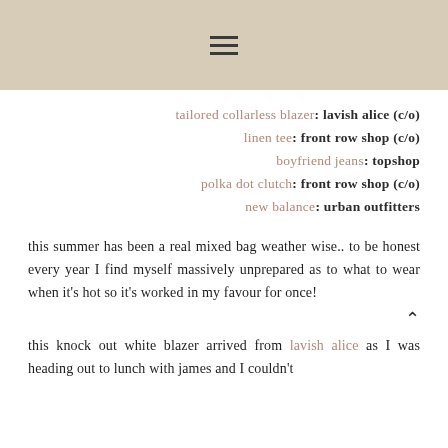[Figure (photo): Page header with tan/beige background and hamburger menu icon]
tailored collarless blazer: lavish alice (c/o)
linen tee: front row shop (c/o)
boyfriend jeans: topshop
polka dot clutch: front row shop (c/o)
new balance: urban outfitters
this summer has been a real mixed bag weather wise.. to be honest every year I find myself massively unprepared as to what to wear when it's hot so it's worked in my favour for once!
this knock out white blazer arrived from lavish alice as I was heading out to lunch with james and I couldn't